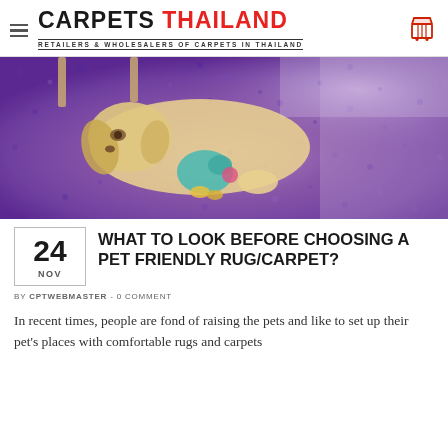CARPETS THAILAND — RETAILERS & WHOLESALERS OF CARPETS IN THAILAND
[Figure (photo): A golden retriever puppy lying on a purple/violet shaggy carpet, chewing on a teal stuffed animal toy. The carpet fills the entire frame with thick purple fibers.]
WHAT TO LOOK BEFORE CHOOSING A PET FRIENDLY RUG/CARPET?
BY CPTWEBMASTER - 0 COMMENT
In recent times, people are fond of raising the pets and like to set up their pet's places with comfortable rugs and carpets